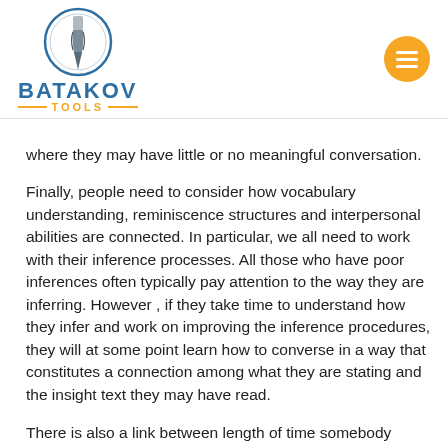[Figure (logo): Batakov Tools logo: drill bit in a circle above the text BATAKOV in blue and TOOLS in orange with dashes]
where they may have little or no meaningful conversation.
Finally, people need to consider how vocabulary understanding, reminiscence structures and interpersonal abilities are connected. In particular, we all need to work with their inference processes. All those who have poor inferences often typically pay attention to the way they are inferring. However , if they take time to understand how they infer and work on improving the inference procedures, they will at some point learn how to converse in a way that constitutes a connection among what they are stating and the insight text they may have read.
There is also a link between length of time somebody spends on the task and how well they retain the